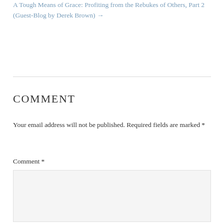A Tough Means of Grace: Profiting from the Rebukes of Others, Part 2 (Guest-Blog by Derek Brown) →
Comment
Your email address will not be published. Required fields are marked *
Comment *